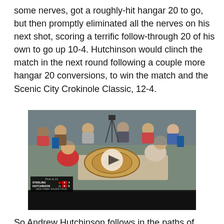some nerves, got a roughly-hit hangar 20 to go, but then promptly eliminated all the nerves on his next shot, scoring a terrific follow-through 20 of his own to go up 10-4. Hutchinson would clinch the match in the next round following a couple more hangar 20 conversions, to win the match and the Scenic City Crokinole Classic, 12-4.
[Figure (photo): Video thumbnail or embedded video showing two players playing Crokinole at a table, with spectators in the background. A scoreboard overlay shows: STERLING 4|4, HUTCHINSON 5|8. Caption reads '2018 OWEN SOUND FINAL'. A play button triangle is visible in the center.]
So Andrew Hutchinson follows in the paths of Louis Gauthier (2013) and Roy Campbell (2015), who both also won their